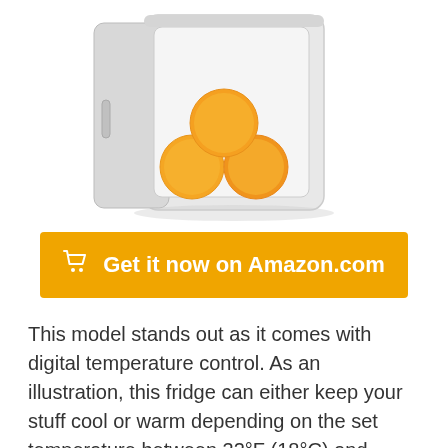[Figure (photo): Mini fridge with open door showing oranges inside, white/gray plastic body]
Get it now on Amazon.com
This model stands out as it comes with digital temperature control. As an illustration, this fridge can either keep your stuff cool or warm depending on the set temperature between 32°F (18°C) and 140°F (60°C). Even though the lowest temperature available is 35.6F (2°C), it cannot freeze the stuff inside. Similarly, you can also